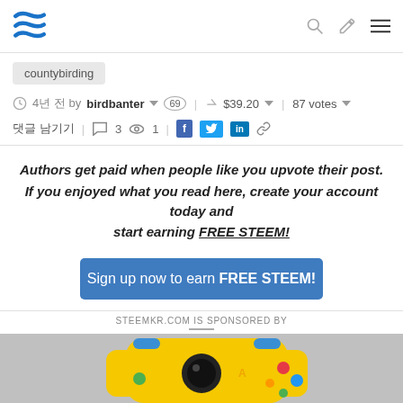Steem navigation bar with logo, search, edit and menu icons
countybirding
4년 전 by birdbanter 69 | $39.20 | 87 votes
댓글 남기기 | 3 👁 1 | Facebook Twitter LinkedIn Link icons
Authors get paid when people like you upvote their post. If you enjoyed what you read here, create your account today and start earning FREE STEEM!
Sign up now to earn FREE STEEM!
STEEMKR.COM IS SPONSORED BY
[Figure (photo): Yellow toy camera / game controller on grey background, sponsor advertisement image]